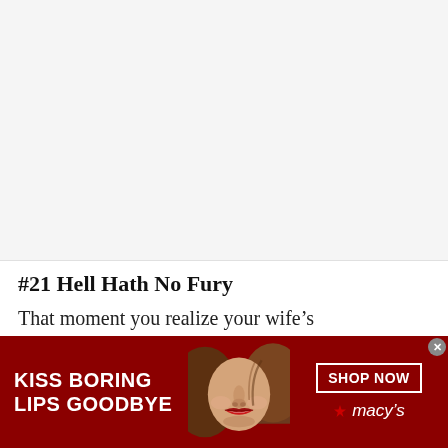#21 Hell Hath No Fury
That moment you realize your wife's
[Figure (screenshot): Macy's banner advertisement with dark red background. Left side shows bold white text 'KISS BORING LIPS GOODBYE'. Center shows a close-up photo of a woman's face with red lips and brown hair. Right side shows a white-bordered 'SHOP NOW' button and the Macy's star logo in white italic text. A small grey close button (x) appears in the upper right corner of the ad.]